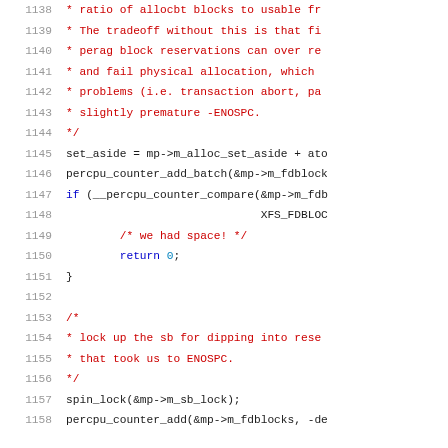[Figure (screenshot): Source code listing showing lines 1138–1158 of a C source file. The code contains comments about allocbt blocks, perag block reservations, and ENOSPC handling, followed by C statements including set_aside assignment, percpu_counter_add_batch, __percpu_counter_compare, return 0, spin_lock, and percpu_counter_add calls.]